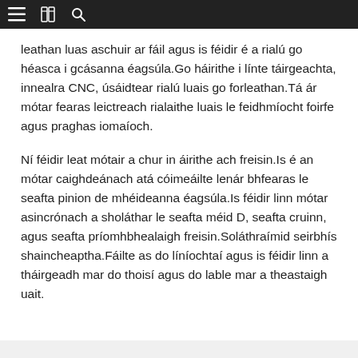≡  [book icon]  🔍
leathan luas aschuir ar fáil agus is féidir é a rialú go héasca i gcásanna éagsúla.Go háirithe i línte táirgeachta, innealra CNC, úsáidtear rialú luais go forleathan.Tá ár mótar fearas leictreach rialaithe luais le feidhmíocht foirfe agus praghas iomaíoch.
Ní féidir leat mótair a chur in áirithe ach freisin.Is é an mótar caighdeánach atá cóimeáilte lenár bhfearas le seafta pinion de mhéideanna éagsúla.Is féidir linn mótar asincrónach a sholáthar le seafta méid D, seafta cruinn, agus seafta príomhbhealaigh freisin.Soláthraímid seirbhís shaincheaptha.Fáilte as do líníochtaí agus is féidir linn a tháirgeadh mar do thoisí agus do lable mar a theastaigh uait.